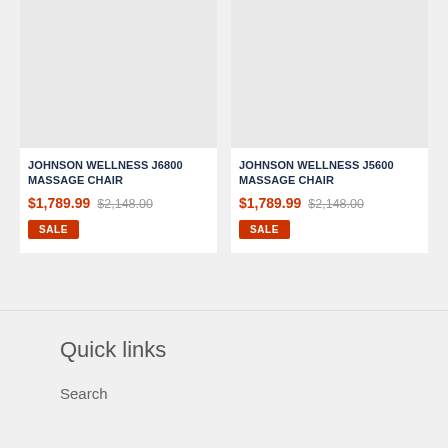[Figure (photo): Product image placeholder for Johnson Wellness J6800 Massage Chair (light gray box)]
JOHNSON WELLNESS J6800 MASSAGE CHAIR
$1,789.99  $2,148.00
SALE
[Figure (photo): Product image placeholder for Johnson Wellness J5600 Massage Chair (light gray box)]
JOHNSON WELLNESS J5600 MASSAGE CHAIR
$1,789.99  $2,148.00
SALE
Quick links
Search